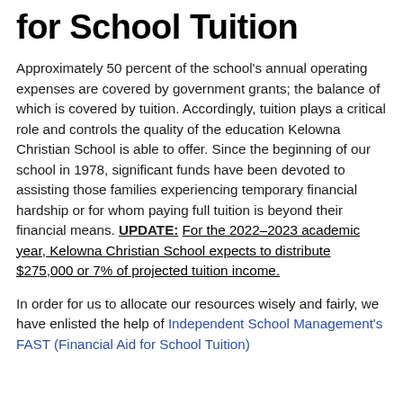for School Tuition
Approximately 50 percent of the school's annual operating expenses are covered by government grants; the balance of which is covered by tuition. Accordingly, tuition plays a critical role and controls the quality of the education Kelowna Christian School is able to offer. Since the beginning of our school in 1978, significant funds have been devoted to assisting those families experiencing temporary financial hardship or for whom paying full tuition is beyond their financial means. UPDATE: For the 2022–2023 academic year, Kelowna Christian School expects to distribute $275,000 or 7% of projected tuition income.
In order for us to allocate our resources wisely and fairly, we have enlisted the help of Independent School Management's FAST (Financial Aid for School Tuition)